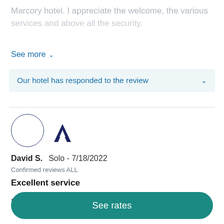Marcory hotel. I appreciate the welcome, the various services and above all the security.
See more ∨
Our hotel has responded to the review
[Figure (illustration): Empty circular avatar placeholder with thin dark blue border, next to an Accor brand logo mark (stylized letter A in dark navy)]
David S.   Solo - 7/18/2022
Confirmed reviews ALL
Excellent service
Short stay but excellent service including restaurant
See rates